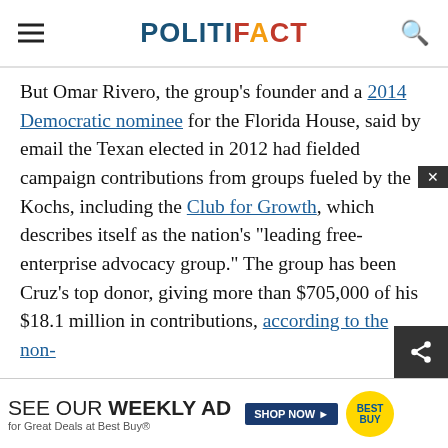POLITIFACT
But Omar Rivero, the group's founder and a 2014 Democratic nominee for the Florida House, said by email the Texan elected in 2012 had fielded campaign contributions from groups fueled by the Kochs, including the Club for Growth, which describes itself as the nation's "leading free-enterprise advocacy group." The group has been Cruz's top donor, giving more than $705,000 of his $18.1 million in contributions, according to the non-partisan which any's
[Figure (other): Best Buy weekly ad banner advertisement at the bottom of the page reading SEE OUR WEEKLY AD for Great Deals at Best Buy with SHOP NOW button and Best Buy logo]